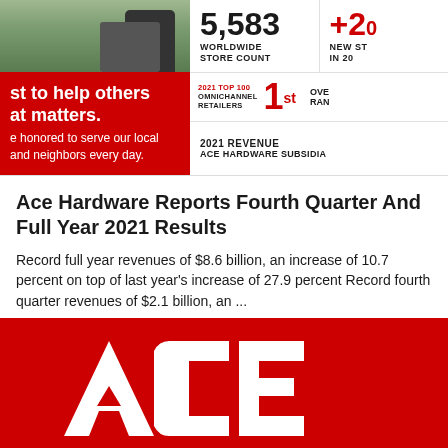[Figure (photo): Top-left image showing a person with a lawn mower on grass, partially cropped]
st to help others at matters. e honored to serve our local and neighbors every day.
5,583 WORLDWIDE STORE COUNT
+2( NEW ST IN 2(
2021 TOP 100 OMNICHANNEL RETAILERS   1st   OVE RAN
2021 REVENUE ACE HARDWARE SUBSIDIA
Ace Hardware Reports Fourth Quarter And Full Year 2021 Results
Record full year revenues of $8.6 billion, an increase of 10.7 percent on top of last year's increase of 27.9 percent Record fourth quarter revenues of $2.1 billion, an ...
Read More
[Figure (logo): Ace Hardware logo — white 'ACE' letters on red background, partially cut off at bottom]